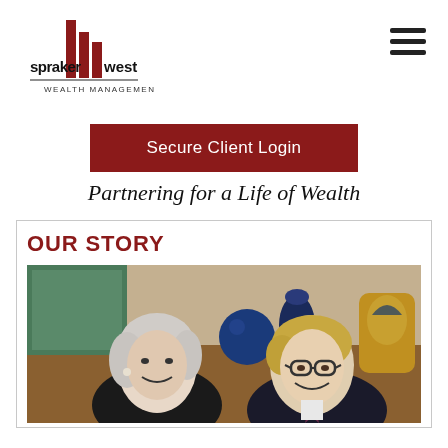[Figure (logo): Spraker West Wealth Management logo with stylized building icon in red and black, company name in black text]
[Figure (other): Hamburger menu icon (three horizontal lines) in top right corner]
Secure Client Login
Partnering for a Life of Wealth
OUR STORY
[Figure (photo): Professional photo of a woman with white/silver hair and a man with glasses, both smiling, wearing dark business attire, with decorative items on shelves in the background]